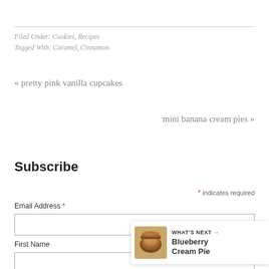Filed Under: Cookies, Recipes
Tagged With: Caramel, Cinnamon
« pretty pink vanilla cupcakes
mini banana cream pies »
Subscribe
* indicates required
Email Address *
First Name